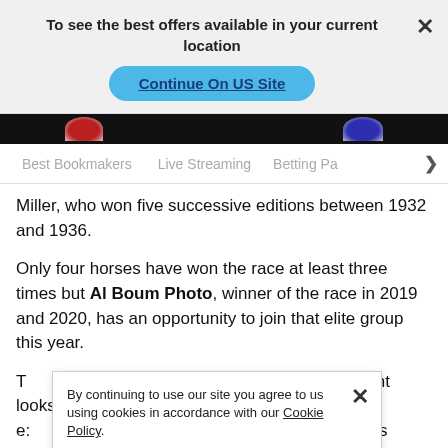To see the best offers available in your current location
Continue On US Site
Best Bookmakers   Live Streaming   Betting Pa…
Miller, who won five successive editions between 1932 and 1936.
Only four horses have won the race at least three times but Al Boum Photo, winner of the race in 2019 and 2020, has an opportunity to join that elite group this year.
T…vent looks wide o…candidate, so e:…greatly. The market is dominated by Irish-trained runners but the
By continuing to use our site you agree to us using cookies in accordance with our Cookie Policy.
GOT IT